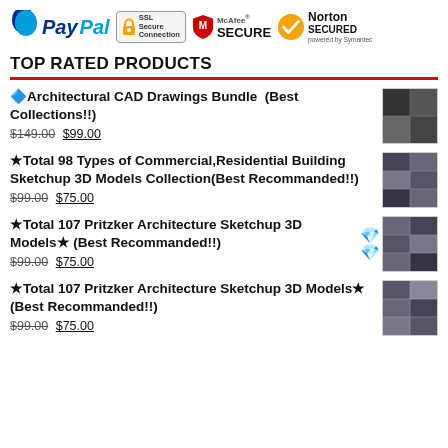[Figure (logo): PayPal logo, SSL Secure Connection badge, McAfee SECURE badge, Norton SECURED powered by Symantec badge]
TOP RATED PRODUCTS
🔷Architectural CAD Drawings Bundle  (Best Collections!!) $149.00 $99.00
★Total 98 Types of Commercial,Residential Building Sketchup 3D Models Collection(Best Recommanded!!) $99.00 $75.00
★Total 107 Pritzker Architecture Sketchup 3D Models★ (Best Recommanded!!) $99.00 $75.00
★Total 107 Pritzker Architecture Sketchup 3D Models★ (Best Recommanded!!) $99.00 $75.00